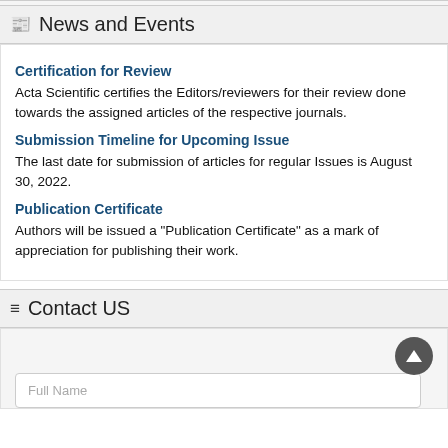News and Events
Certification for Review
Acta Scientific certifies the Editors/reviewers for their review done towards the assigned articles of the respective journals.
Submission Timeline for Upcoming Issue
The last date for submission of articles for regular Issues is August 30, 2022.
Publication Certificate
Authors will be issued a "Publication Certificate" as a mark of appreciation for publishing their work.
Contact US
Full Name